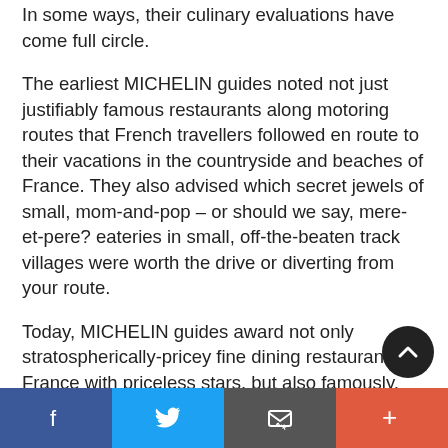In some ways, their culinary evaluations have come full circle.
The earliest MICHELIN guides noted not just justifiably famous restaurants along motoring routes that French travellers followed en route to their vacations in the countryside and beaches of France. They also advised which secret jewels of small, mom-and-pop – or should we say, mere-et-pere? eateries in small, off-the-beaten track villages were worth the drive or diverting from your route.
Today, MICHELIN guides award not only stratospherically-pricey fine dining restaurants in France with priceless stars, but also famously, stree...